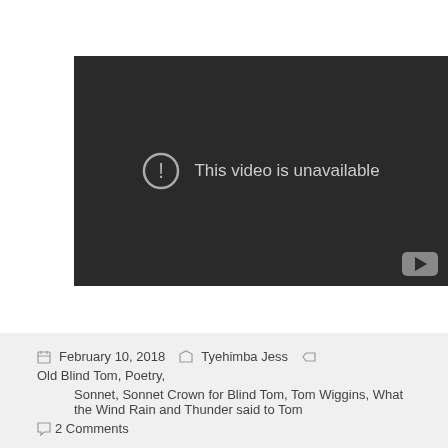[Figure (screenshot): Embedded video player showing 'This video is unavailable' error message on dark background with YouTube logo in bottom right corner.]
February 10, 2018  Tyehimba Jess  Old Blind Tom, Poetry, Sonnet, Sonnet Crown for Blind Tom, Tom Wiggins, What the Wind Rain and Thunder said to Tom  2 Comments